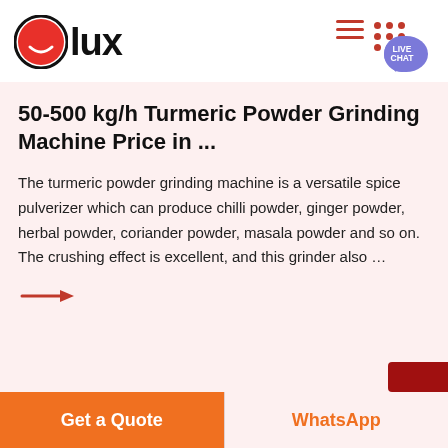[Figure (logo): Olux brand logo with red smiley circle icon and bold 'lux' text]
50-500 kg/h Turmeric Powder Grinding Machine Price in ...
The turmeric powder grinding machine is a versatile spice pulverizer which can produce chilli powder, ginger powder, herbal powder, coriander powder, masala powder and so on. The crushing effect is excellent, and this grinder also ...
[Figure (illustration): Red arrow pointing right as a read-more link]
Get a Quote
WhatsApp